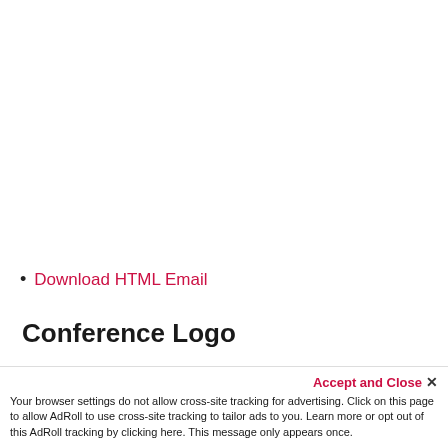Download HTML Email
Conference Logo
Format: Full color, PNG
Accept and Close ×
Your browser settings do not allow cross-site tracking for advertising. Click on this page to allow AdRoll to use cross-site tracking to tailor ads to you. Learn more or opt out of this AdRoll tracking by clicking here. This message only appears once.